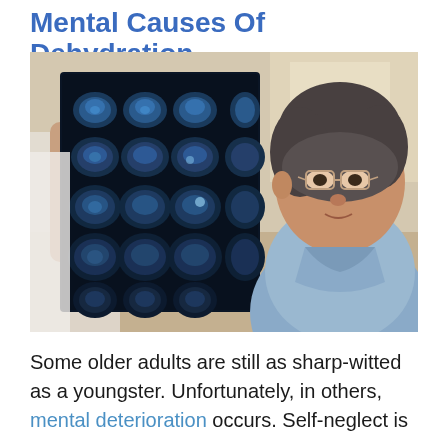Mental Causes Of Dehydration
[Figure (photo): A doctor holding up brain MRI scan images while an elderly Asian woman in a light blue patient gown looks on, in a clinical setting.]
Some older adults are still as sharp-witted as a youngster. Unfortunately, in others, mental deterioration occurs. Self-neglect is